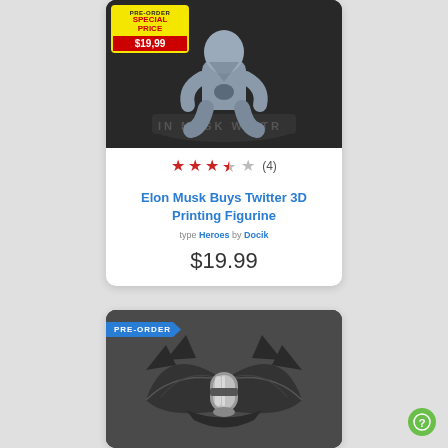[Figure (photo): 3D printed figurine of Elon Musk buying Twitter, gray resin, sitting on a platform inscribed 'IN MUSK WE TRU...', with a pre-order special price badge of $19.99 on yellow background with red accents.]
[Figure (other): Star rating: 3.5 out of 5 stars (4 reviews)]
Elon Musk Buys Twitter 3D Printing Figurine
type Heroes by Docik
$19.99
[Figure (photo): Pre-order banner for a Batwing 3D model/figurine, dark gray bat-shaped vehicle with chrome engine detail, blue pre-order ribbon badge.]